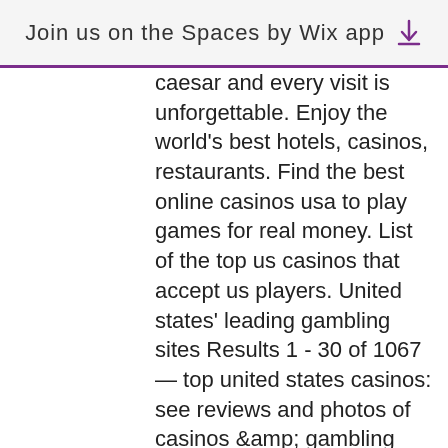Join us on the Spaces by Wix app
caesar and every visit is unforgettable. Enjoy the world's best hotels, casinos, restaurants. Find the best online casinos usa to play games for real money. List of the top us casinos that accept us players. United states' leading gambling sites Results 1 - 30 of 1067 — top united states casinos: see reviews and photos of casinos &amp; gambling attractions in united states on tripadvisor. Seneca niagara resort &amp; casino in niagara falls, ny usa boasts a aaa four-diamond hotel with 604 rooms, exciting full-service casino &amp; top-tier amenities. Platinum reels casino · sloto stars casino · new vegas casino · diamond reels casino · bitstarz casino · vegas 2 web · mega 7's casino · lion. Careers · contact us · newsroom · faq · gift cards · the mohegan indian tribe · chinese · meetings ·